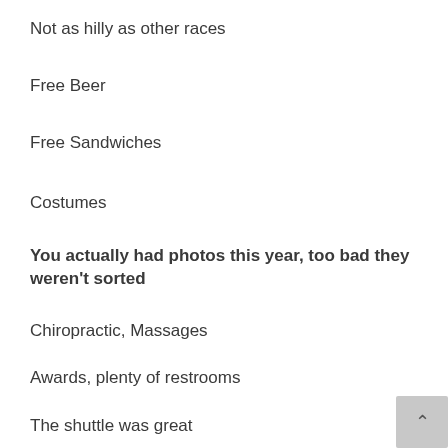Not as hilly as other races
Free Beer
Free Sandwiches
Costumes
You actually had photos this year, too bad they weren't sorted
Chiropractic, Massages
Awards, plenty of restrooms
The shuttle was great
Inflatable for kids
Plenty of water stops